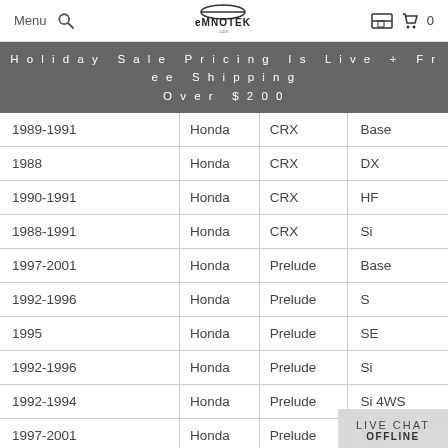Menu [search] EMNOTEK [garage icon] [cart] 0
Holiday Sale Pricing Is Live + Free Shipping Over $200
| Year | Make | Model | Trim |
| --- | --- | --- | --- |
| 1989-1991 | Honda | CRX | Base |
| 1988 | Honda | CRX | DX |
| 1990-1991 | Honda | CRX | HF |
| 1988-1991 | Honda | CRX | Si |
| 1997-2001 | Honda | Prelude | Base |
| 1992-1996 | Honda | Prelude | S |
| 1995 | Honda | Prelude | SE |
| 1992-1996 | Honda | Prelude | Si |
| 1992-1994 | Honda | Prelude | Si 4WS |
| 1997-2001 | Honda | Prelude | Type SH |
LIVE CHAT OFFLINE